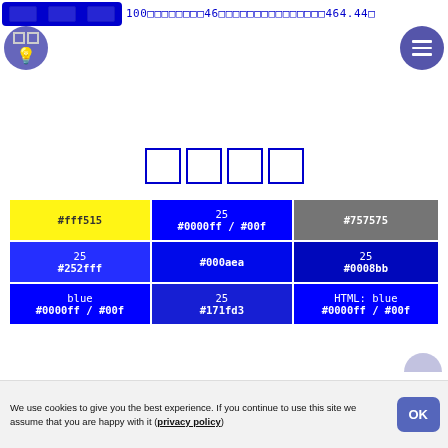100 46 464.440
[Figure (screenshot): Navigation bar with blue button group on left, lightbulb icon, menu icon on right]
[Figure (other): Four empty outlined boxes centered on page]
| #fff515 | 25
#0000ff / #00f | #757575 |
| 25
#252fff | #000aea | 25
#0008bb |
| blue
#0000ff / #00f | 25
#171fd3 | HTML: blue
#0000ff / #00f |
We use cookies to give you the best experience. If you continue to use this site we assume that you are happy with it (privacy policy)